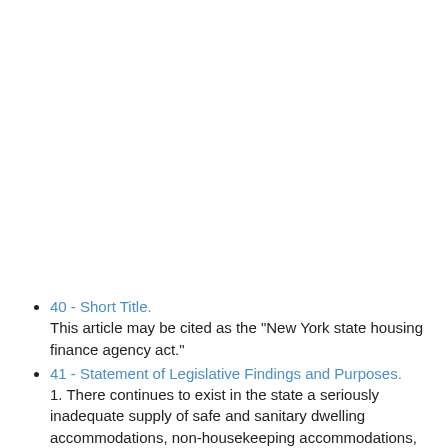40 - Short Title.
This article may be cited as the "New York state housing finance agency act."
41 - Statement of Legislative Findings and Purposes.
1. There continues to exist in the state a seriously inadequate supply of safe and sanitary dwelling accommodations, non-housekeeping accommodations, aged care accommodations or accommodations...